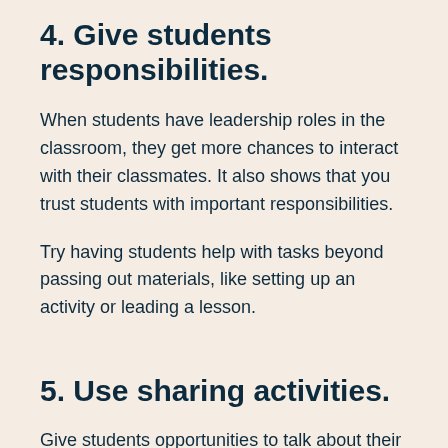4. Give students responsibilities.
When students have leadership roles in the classroom, they get more chances to interact with their classmates. It also shows that you trust students with important responsibilities.
Try having students help with tasks beyond passing out materials, like setting up an activity or leading a lesson.
5. Use sharing activities.
Give students opportunities to talk about their interests and opinions during lessons. For